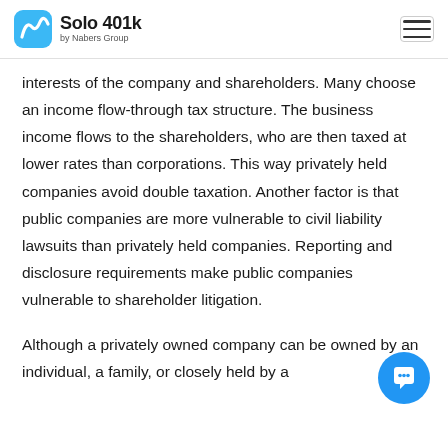Solo 401k by Nabers Group
interests of the company and shareholders. Many choose an income flow-through tax structure. The business income flows to the shareholders, who are then taxed at lower rates than corporations. This way privately held companies avoid double taxation. Another factor is that public companies are more vulnerable to civil liability lawsuits than privately held companies. Reporting and disclosure requirements make public companies vulnerable to shareholder litigation.
Although a privately owned company can be owned by an individual, a family, or closely held by a